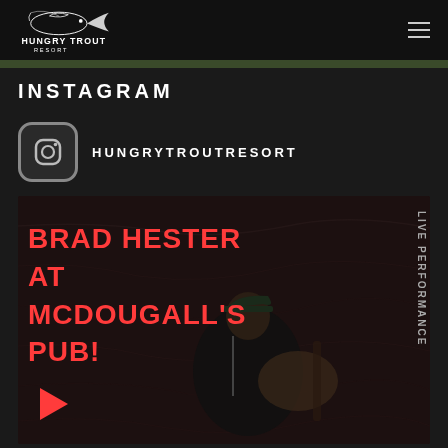Hungry Trout Resort
INSTAGRAM
HUNGRYTROUTRESORT
[Figure (photo): Instagram post image showing Brad Hester performing at McDougall's Pub with bold red text overlay and a man playing guitar]